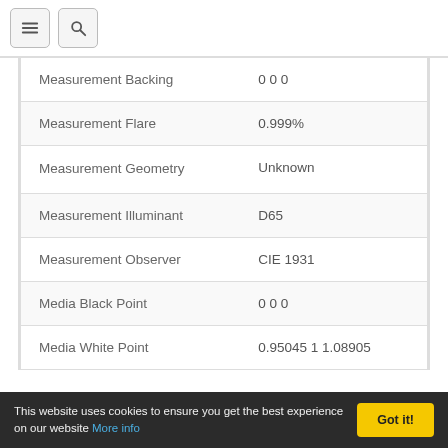Menu | Search
| Property | Value |
| --- | --- |
| Measurement Backing | 0 0 0 |
| Measurement Flare | 0.999% |
| Measurement Geometry | Unknown |
| Measurement Illuminant | D65 |
| Measurement Observer | CIE 1931 |
| Media Black Point | 0 0 0 |
| Media White Point | 0.95045 1 1.08905 |
This website uses cookies to ensure you get the best experience on our website More info  Got it!